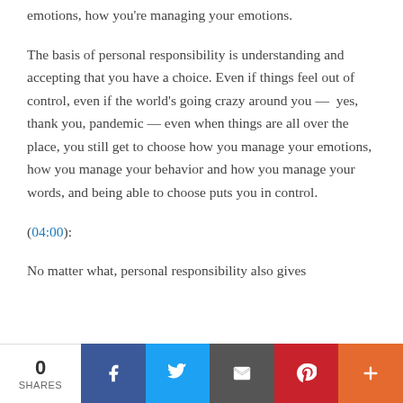emotions, how you're managing your emotions.
The basis of personal responsibility is understanding and accepting that you have a choice. Even if things feel out of control, even if the world's going crazy around you —  yes, thank you, pandemic — even when things are all over the place, you still get to choose how you manage your emotions, how you manage your behavior and how you manage your words, and being able to choose puts you in control.
(04:00):
No matter what, personal responsibility also gives